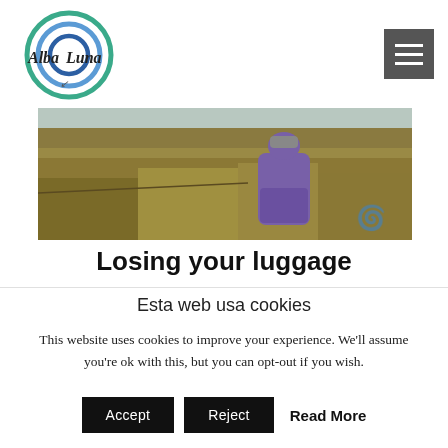[Figure (logo): Alba Luna logo — circular swirl design in blue and green with handwritten-style text 'Alba Luna' and a small bird/arrow motif below]
[Figure (photo): Person in purple jacket sitting in golden grassland/moorland hillside, viewed from behind, wearing a grey beanie hat]
Losing your luggage
Esta web usa cookies
This website uses cookies to improve your experience. We'll assume you're ok with this, but you can opt-out if you wish.
Accept | Reject | Read More